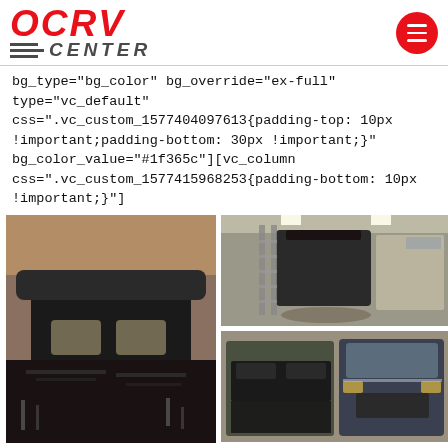[Figure (logo): OCRV Center logo with red italic text and grey horizontal lines above CENTER text]
bg_type="bg_color" bg_override="ex-full" type="vc_default" css=".vc_custom_1577404097613{padding-top: 10px !important;padding-bottom: 30px !important;}" bg_color_value="#1f365c"][vc_column css=".vc_custom_1577415968253{padding-bottom: 10px !important;}"]
[Figure (photo): Front view of a heavily fire-damaged motorhome/RV inside a repair shop, showing stripped front fascia and burn damage to lower sections]
[Figure (photo): Wide shot of fire-damaged motorhome in a large repair facility with scaffolding ladders beside it and other RVs visible in background]
[Figure (photo): Before and after comparison side-by-side of two motorhome fronts, left showing fire damage, right showing restored/repaired state]